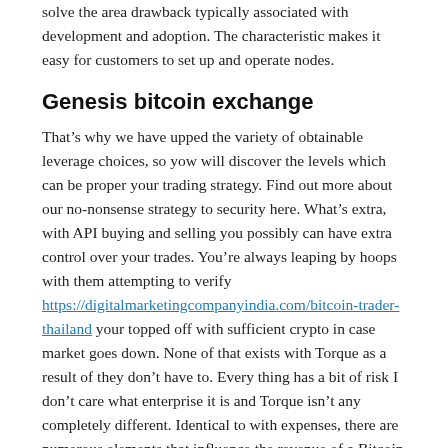solve the area drawback typically associated with development and adoption. The characteristic makes it easy for customers to set up and operate nodes.
Genesis bitcoin exchange
That’s why we have upped the variety of obtainable leverage choices, so yow will discover the levels which can be proper your trading strategy. Find out more about our no-nonsense strategy to security here. What’s extra, with API buying and selling you possibly can have extra control over your trades. You’re always leaping by hoops with them attempting to verify https://digitalmarketingcompanyindia.com/bitcoin-trader-thailand your topped off with sufficient crypto in case market goes down. None of that exists with Torque as a result of they don’t have to. Every thing has a bit of risk I don’t care what enterprise it is and Torque isn’t any completely different. Identical to with expenses, there are numerous elements that influence the revenue of a Bitcoin ATM business, with location